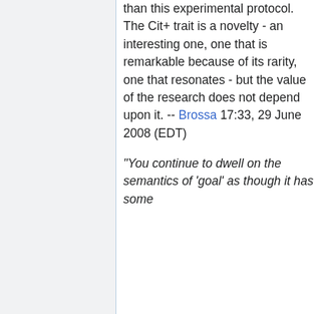than this experimental protocol. The Cit+ trait is a novelty - an interesting one, one that is remarkable because of its rarity, one that resonates - but the value of the research does not depend upon it. -- Brossa 17:33, 29 June 2008 (EDT)
"You continue to dwell on the semantics of 'goal' as though it has some